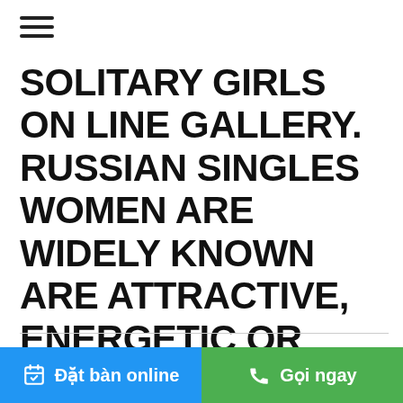[Figure (other): Hamburger menu icon with three horizontal lines]
SOLITARY GIRLS ON LINE GALLERY. RUSSIAN SINGLES WOMEN ARE WIDELY KNOWN ARE ATTRACTIVE, ENERGETIC OR MORE FOR A GOOD TIME.
Đặt bàn online   Gọi ngay